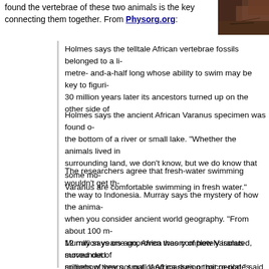found the vertebrae of these two animals is the key connecting them together. From Physorg.org:
[Figure (photo): Partial photo of a dark-colored animal, likely a monitor lizard (Varanus), cropped at the top-right of the page.]
Holmes says the telltale African vertebrae fossils belonged to a li- metre- and-a-half long whose ability to swim may be key to figuri- 30 million years later its ancestors turned up on the other side of
Holmes says the ancient African Varanus specimen was found o- the bottom of a river or small lake. "Whether the animals lived in surrounding land, we don't know, but we do know that some mo- Varanus are comfortable swimming in fresh water."
The researchers agree that fresh-water swimming wouldn't get th- the way to Indonesia. Murray says the mystery of how the anima- when you consider ancient world geography. "From about 100 m- 12 million years ago, Africa was completely isolated, surrounded somehow they got out of Africa during that period," said Murray. is important because there was no known land connection."
Murray says one unproven theory of how Varanus moved out of millions of years, small land masses or micro-plates may have m- to another, carrying their fauna with them.